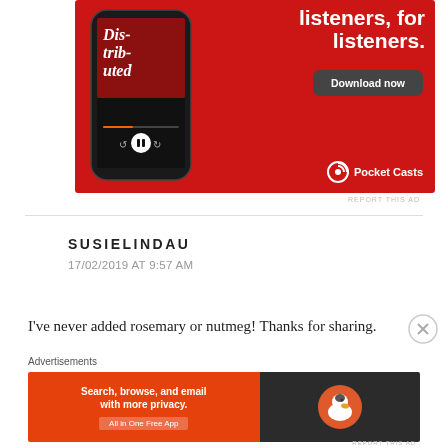[Figure (screenshot): Pocket Casts advertisement with red background showing a smartphone playing a podcast called 'Distributed', with text 'listeners, for listeners.' and a 'Download now' button, and the Pocket Casts logo at the bottom right.]
REPORT THIS AD
SUSIELINDAU
17/02/2019 AT 9:57 AM
I've never added rosemary or nutmeg! Thanks for sharing.
Advertisements
[Figure (screenshot): DuckDuckGo advertisement: orange left panel saying 'Search, browse, and email with more privacy. All in One Free App', dark right panel with DuckDuckGo duck logo.]
REPORT THIS AD